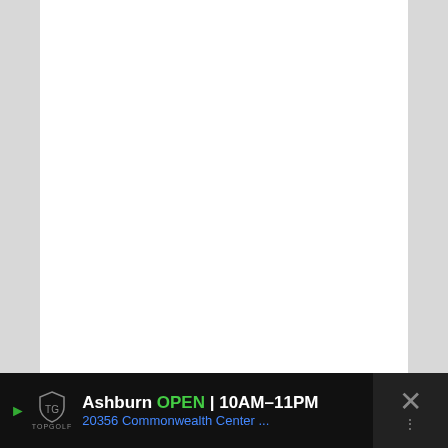[Figure (other): Pink rounded box with white bold text: CLICK HERE (underlined) to get your Habit Tracker Spreadsheet]
Search this website
[Figure (other): Black advertisement bar at bottom. Topgolf logo with shield. Text: Ashburn OPEN 10AM–11PM, 20356 Commonwealth Center... with green arrow icon and close X button.]